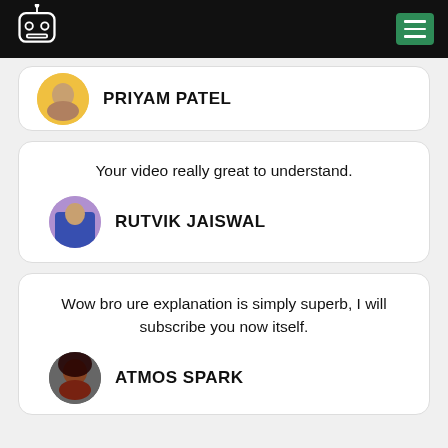Navigation bar with robot logo and menu button
PRIYAM PATEL
Your video really great to understand.
RUTVIK JAISWAL
Wow bro ure explanation is simply superb, I will subscribe you now itself.
ATMOS SPARK